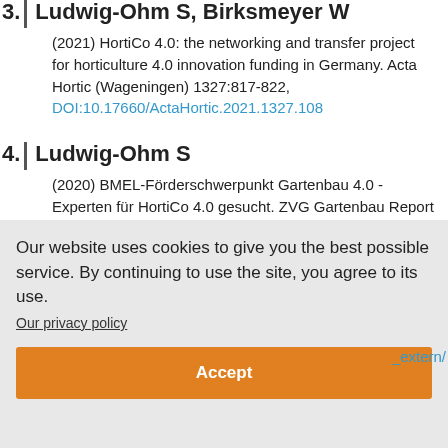3. Ludwig-Ohm S, Birksmeyer W
(2021) HortiCo 4.0: the networking and transfer project for horticulture 4.0 innovation funding in Germany. Acta Hortic (Wageningen) 1327:817-822, DOI:10.17660/ActaHortic.2021.1327.108
4. Ludwig-Ohm S
(2020) BMEL-Förderschwerpunkt Gartenbau 4.0 - Experten für HortiCo 4.0 gesucht. ZVG Gartenbau Report
Our website uses cookies to give you the best possible service. By continuing to use the site, you agree to its use.
Our privacy policy
Accept